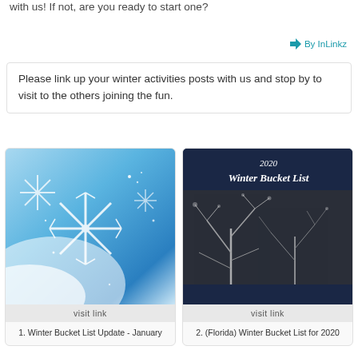with us! If not, are you ready to start one?
By InLinkz
Please link up your winter activities posts with us and stop by to visit to the others joining the fun.
[Figure (photo): Snowflake winter blue illustration image with sparkles]
1. Winter Bucket List Update - January
[Figure (photo): 2020 Winter Bucket List with dark blue header and icy tree image]
2. (Florida) Winter Bucket List for 2020